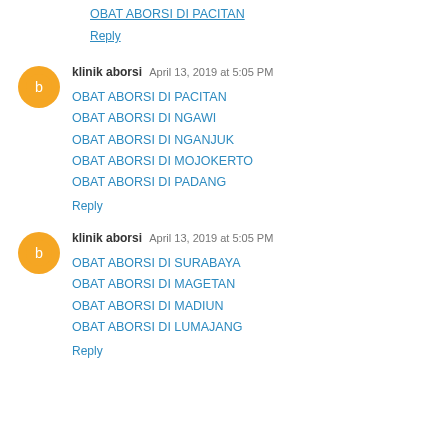OBAT ABORSI DI PACITAN
Reply
klinik aborsi  April 13, 2019 at 5:05 PM
OBAT ABORSI DI PACITAN
OBAT ABORSI DI NGAWI
OBAT ABORSI DI NGANJUK
OBAT ABORSI DI MOJOKERTO
OBAT ABORSI DI PADANG
Reply
klinik aborsi  April 13, 2019 at 5:05 PM
OBAT ABORSI DI SURABAYA
OBAT ABORSI DI MAGETAN
OBAT ABORSI DI MADIUN
OBAT ABORSI DI LUMAJANG
Reply